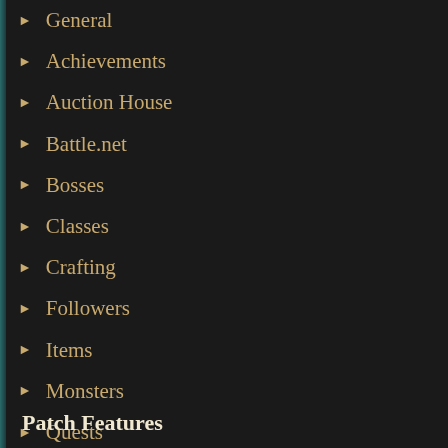General
Achievements
Auction House
Battle.net
Bosses
Classes
Crafting
Followers
Items
Monsters
Quests
User Interface
Mac
Bug Fixes
Patch Features